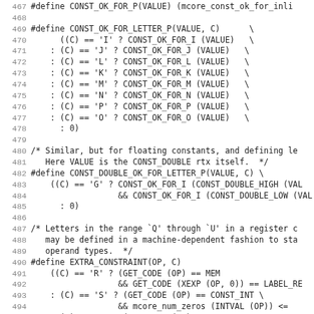Code listing lines 467-498, C preprocessor macros for MCore architecture constants and constraints.